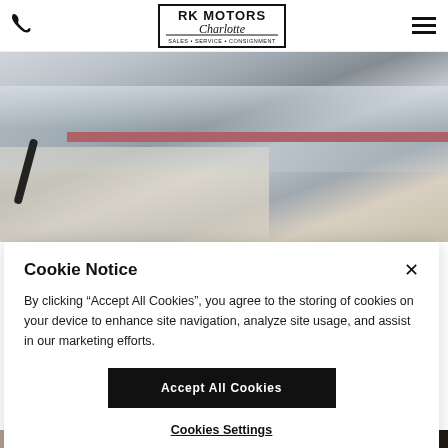RK MOTORS Charlotte — Sales · Service · Consignment
[Figure (photo): Close-up of a car body panel being worked on in a garage; bare metal visible with tools nearby on a workbench surface.]
Cookie Notice
By clicking "Accept All Cookies", you agree to the storing of cookies on your device to enhance site navigation, analyze site usage, and assist in our marketing efforts.
Accept All Cookies
Cookies Settings
[Figure (photo): Partial view of a dark-colored car interior/exterior in a garage, bottom strip.]